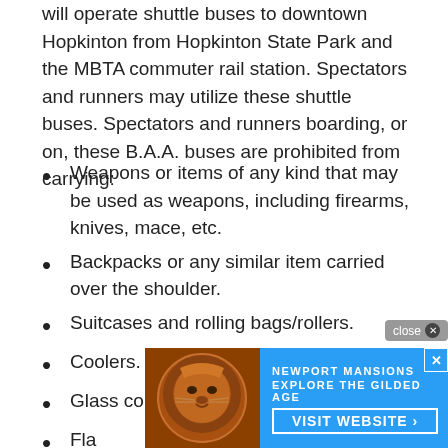will operate shuttle buses to downtown Hopkinton from Hopkinton State Park and the MBTA commuter rail station. Spectators and runners may utilize these shuttle buses. Spectators and runners boarding, or on, these B.A.A. buses are prohibited from carrying:
Weapons or items of any kind that may be used as weapons, including firearms, knives, mace, etc.
Backpacks or any similar item carried over the shoulder.
Suitcases and rolling bags/rollers.
Coolers.
Glass containers or cans.
Fla...
[Figure (other): Advertisement overlay for Newport Mansions - Explore The Gilded Age - Visit Website, with a decorative bronze lion logo on blue background, with a close button.]